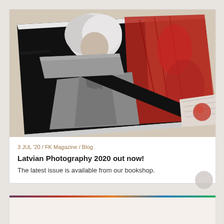[Figure (photo): Angled overhead photo of a large photography book or magazine with a black cover. The cover shows a person with white/silver hair wearing a gray suit jacket, and a red artistic illustration of a figure. A black ribbon or bookmark is visible across the book. The book is placed on a beige/cream surface.]
3 JUL '20 / FK Magazine / Blog
Latvian Photography 2020 out now!
The latest issue is available from our bookshop.